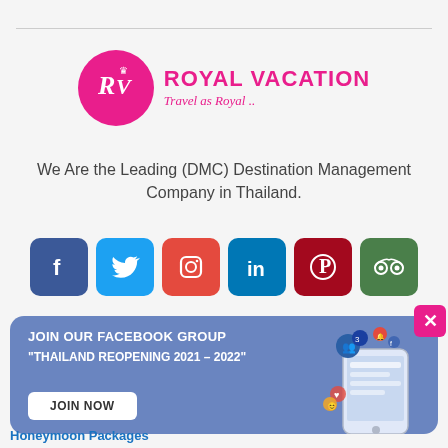[Figure (logo): Royal Vacation logo: pink circle with RV letters and a crown, next to bold pink text ROYAL VACATION with italic tagline Travel as Royal ..]
We Are the Leading (DMC) Destination Management Company in Thailand.
[Figure (infographic): Six social media icon buttons: Facebook (dark blue), Twitter (light blue), Instagram (red), LinkedIn (blue), Pinterest (dark red), Tripadvisor (green)]
[Figure (infographic): Blue banner: JOIN OUR FACEBOOK GROUP THAILAND REOPENING 2021-2022 with JOIN NOW button and phone graphic. Pink X close button in top right corner.]
Honeymoon Packages